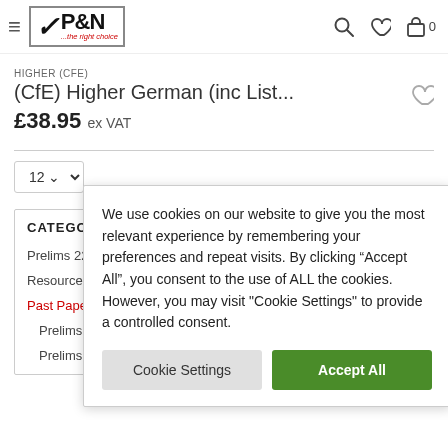[Figure (logo): P&N logo with checkmark and tagline '...the right choice']
HIGHER (CFE)
(CfE) Higher German (inc List...
£38.95 ex VAT
12
CATEGORIES
Prelims 22/20...
Resource Pack...
Past Papers (5...
Prelims 21/2...
Prelims 20/2021 (27...
We use cookies on our website to give you the most relevant experience by remembering your preferences and repeat visits. By clicking “Accept All”, you consent to the use of ALL the cookies. However, you may visit "Cookie Settings" to provide a controlled consent.